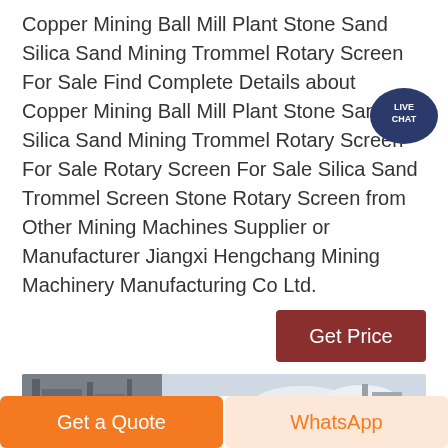Copper Mining Ball Mill Plant Stone Sand Silica Sand Mining Trommel Rotary Screen For Sale Find Complete Details about Copper Mining Ball Mill Plant Stone Sand Silica Sand Mining Trommel Rotary Screen For Sale Rotary Screen For Sale Silica Sand Trommel Screen Stone Rotary Screen from Other Mining Machines Supplier or Manufacturer Jiangxi Hengchang Mining Machinery Manufacturing Co Ltd.
[Figure (illustration): Live Chat bubble icon in dark blue/teal with text LIVE CHAT]
[Figure (other): Get Price button in dark red]
[Figure (photo): Partial photo of mining equipment against sky background]
[Figure (other): Get a Quote orange button and WhatsApp button at bottom]